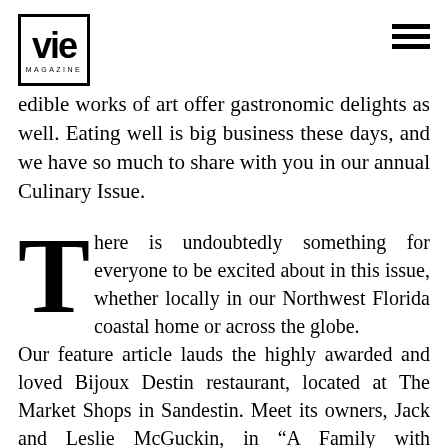VIE MAGAZINE
edible works of art offer gastronomic delights as well. Eating well is big business these days, and we have so much to share with you in our annual Culinary Issue.
There is undoubtedly something for everyone to be excited about in this issue, whether locally in our Northwest Florida coastal home or across the globe. Our feature article lauds the highly awarded and loved Bijoux Destin restaurant, located at The Market Shops in Sandestin. Meet its owners, Jack and Leslie McGuckin, in “A Family with Culinary Chops: For the Love of Food.” Next, take a drive along the West Coast in “California’s Hidden Gem: Cruisin’ Central